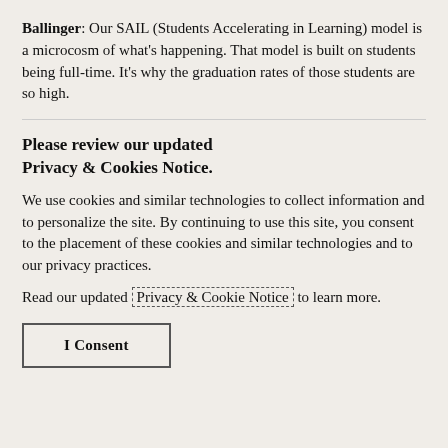Ballinger: Our SAIL (Students Accelerating in Learning) model is a microcosm of what's happening. That model is built on students being full-time. It's why the graduation rates of those students are so high.
Please review our updated Privacy & Cookies Notice.
We use cookies and similar technologies to collect information and to personalize the site. By continuing to use this site, you consent to the placement of these cookies and similar technologies and to our privacy practices.
Read our updated Privacy & Cookie Notice to learn more.
I Consent